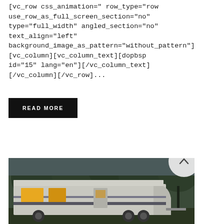[vc_row css_animation=" row_type="row use_row_as_full_screen_section="no" type="full_width" angled_section="no" text_align="left" background_image_as_pattern="without_pattern"] [vc_column][vc_column_text][dopbsp id="15" lang="en"][/vc_column_text] [/vc_column][/vc_row]...
READ MORE
[Figure (photo): An RV/fifth-wheel camper trailer parked outdoors at dusk, with trees in the background and interior lights glowing. A circular scroll-to-top button with an upward arrow is overlaid at the top right of the image.]